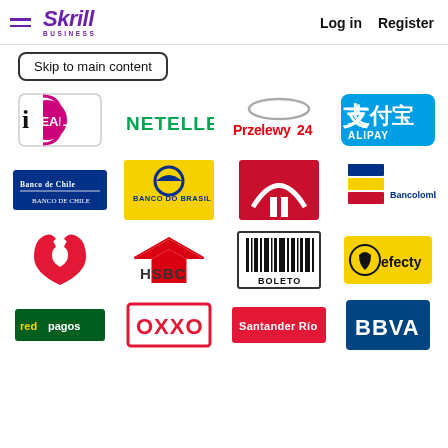[Figure (logo): Skrill Business website header with hamburger menu, Skrill Business logo, Log in and Register links]
Skip to main content
[Figure (logo): iDEAL payment logo]
[Figure (logo): NETELLER payment logo]
[Figure (logo): Przelewy24 payment logo]
[Figure (logo): Alipay 支付宝 payment logo]
[Figure (logo): Banco de Chile bank logo]
[Figure (logo): Banco do Brasil bank logo]
[Figure (logo): Boleto/Caixa bank logo (red square with swoosh)]
[Figure (logo): Bancolombia bank logo]
[Figure (logo): Santander bank logo (red flame)]
[Figure (logo): HSBC bank logo]
[Figure (logo): Boleto payment logo (barcode)]
[Figure (logo): efecty payment logo]
[Figure (logo): redpagos payment logo]
[Figure (logo): OXXO payment logo]
[Figure (logo): Santander Rio bank logo]
[Figure (logo): BBVA bank logo]